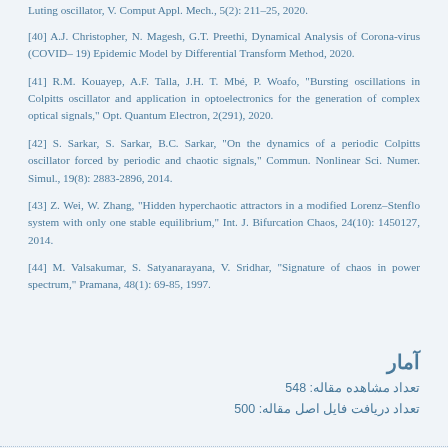Luting oscillator, V. Comput Appl. Mech., 5(2): 211–25, 2020.
[40] A.J. Christopher, N. Magesh, G.T. Preethi, Dynamical Analysis of Corona-virus (COVID– 19) Epidemic Model by Differential Transform Method, 2020.
[41] R.M. Kouayep, A.F. Talla, J.H. T. Mbé, P. Woafo, "Bursting oscillations in Colpitts oscillator and application in optoelectronics for the generation of complex optical signals," Opt. Quantum Electron, 2(291), 2020.
[42] S. Sarkar, S. Sarkar, B.C. Sarkar, "On the dynamics of a periodic Colpitts oscillator forced by periodic and chaotic signals," Commun. Nonlinear Sci. Numer. Simul., 19(8): 2883-2896, 2014.
[43] Z. Wei, W. Zhang, "Hidden hyperchaotic attractors in a modified Lorenz–Stenflo system with only one stable equilibrium," Int. J. Bifurcation Chaos, 24(10): 1450127, 2014.
[44] M. Valsakumar, S. Satyanarayana, V. Sridhar, "Signature of chaos in power spectrum," Pramana, 48(1): 69-85, 1997.
آمار
تعداد مشاهده مقاله: 548
تعداد دریافت فایل اصل مقاله: 500